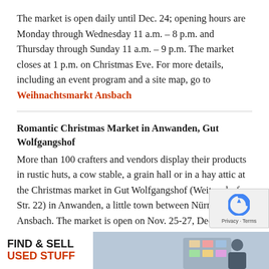The market is open daily until Dec. 24; opening hours are Monday through Wednesday 11 a.m. – 8 p.m. and Thursday through Sunday 11 a.m. – 9 p.m. The market closes at 1 p.m. on Christmas Eve. For more details, including an event program and a site map, go to Weihnachtsmarkt Ansbach
Romantic Christmas Market in Anwanden, Gut Wolfgangshof
More than 100 crafters and vendors display their products in rustic huts, a cow stable, a grain hall or in a hay attic at the Christmas market in Gut Wolfgangshof (Weitersdorfer Str. 22) in Anwanden, a little town between Nürnberg and Ansbach. The market is open on Nov. 25-27, Dec. 2-4, 9-11 and 16-18. Opening hours are Fridays 3 – 8 p.m. and Saturday and Sunday noon to 8 p.m.; admission prices vary from 5 euros for adults to 1 euro for children 6 to 15 years; youngsters under six enter for free.   To learn more about the market, go to Gut Wolfgangshof
[Figure (other): Advertisement banner: 'FIND & SELL USED STUFF' with a person and corkboard in the background]